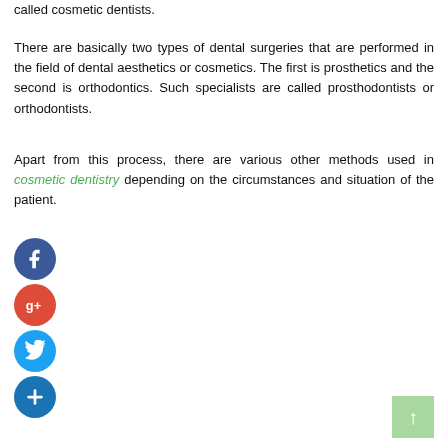called cosmetic dentists.
There are basically two types of dental surgeries that are performed in the field of dental aesthetics or cosmetics. The first is prosthetics and the second is orthodontics. Such specialists are called prosthodontists or orthodontists.
Apart from this process, there are various other methods used in cosmetic dentistry depending on the circumstances and situation of the patient.
[Figure (infographic): Social media sharing icons: Facebook (blue circle with f), Google+ (red circle with g+), Twitter (light blue circle with bird), and a dark blue circle with plus sign. A light green back-to-top arrow button is in the bottom right corner.]